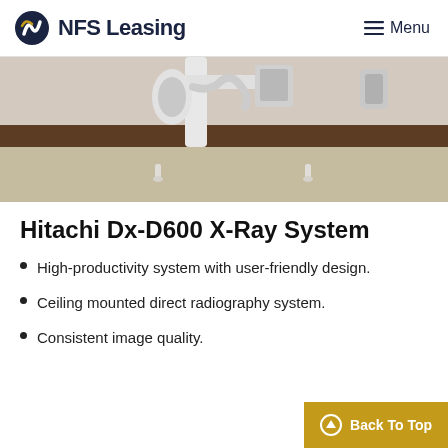NFS Leasing  Menu
[Figure (photo): Photo of a Hitachi Dx-D600 X-Ray system showing a ceiling-mounted radiography arm in a clinical room with beige walls and flooring.]
Hitachi Dx-D600 X-Ray System
High-productivity system with user-friendly design.
Ceiling mounted direct radiography system.
Consistent image quality.